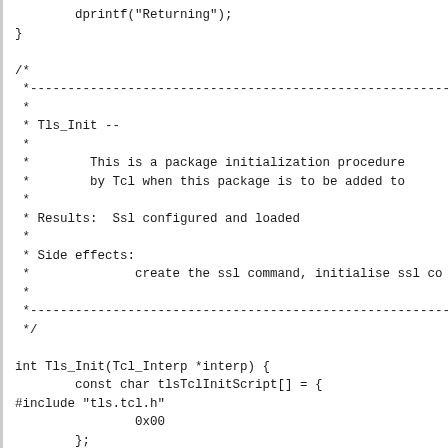dprintf("Returning");
}

/*
 *--------------------------------------------------------------
 *
 * Tls_Init --
 *
 *        This is a package initialization procedure
 *        by Tcl when this package is to be added to
 *
 * Results:  Ssl configured and loaded
 *
 * Side effects:
 *              create the ssl command, initialise ssl co
 *
 *--------------------------------------------------------------
 */

int Tls_Init(Tcl_Interp *interp) {
        const char tlsTclInitScript[] = {
#include "tls.tcl.h"
                0x00
        };

        dprintf("Called");

        /*
         * We only support Tcl 8.4 or newer
         */
        if (
#ifdef USE_TCL_STUBS